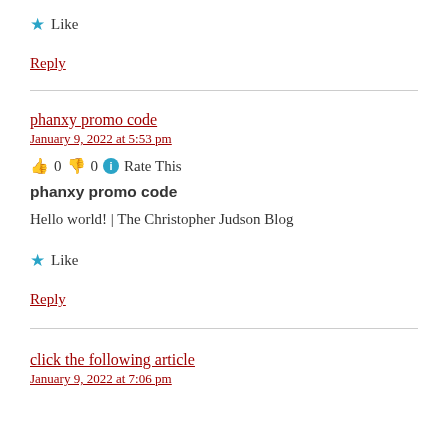★ Like
Reply
phanxy promo code
January 9, 2022 at 5:53 pm
👍 0 👎 0 ℹ Rate This
phanxy promo code
Hello world! | The Christopher Judson Blog
★ Like
Reply
click the following article
January 9, 2022 at 7:06 pm